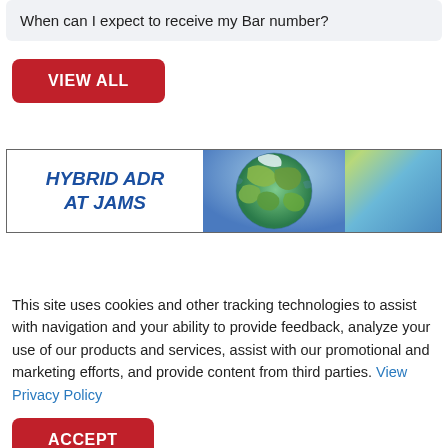When can I expect to receive my Bar number?
VIEW ALL
[Figure (infographic): HYBRID ADR AT JAMS banner with globe image on right side]
This site uses cookies and other tracking technologies to assist with navigation and your ability to provide feedback, analyze your use of our products and services, assist with our promotional and marketing efforts, and provide content from third parties. View Privacy Policy
ACCEPT